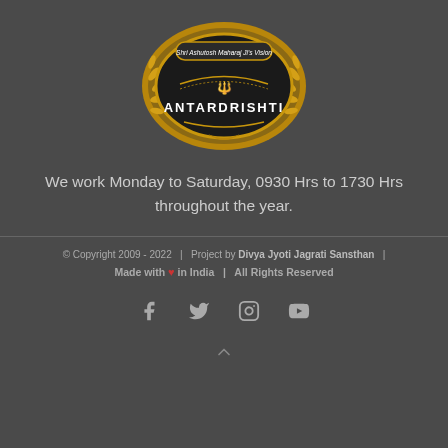[Figure (logo): Antardrishti logo - ornate gold circular emblem with text 'Shri Ashutosh Maharaj Ji's Vision' and 'ANTARDRISHTI' in the center on dark background]
We work Monday to Saturday, 0930 Hrs to 1730 Hrs throughout the year.
© Copyright 2009 - 2022  |  Project by Divya Jyoti Jagrati Sansthan  |  Made with ♥ in India  |  All Rights Reserved